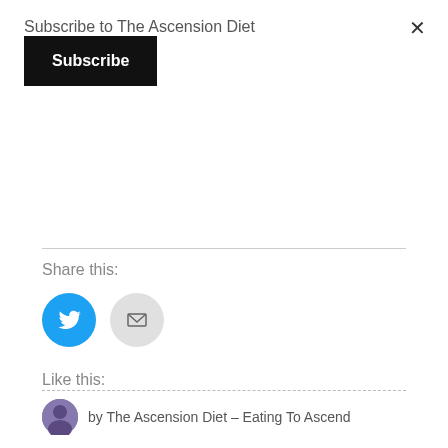Subscribe to The Ascension Diet
Subscribe
Share this:
[Figure (illustration): Twitter bird icon in blue circle and email envelope icon in grey circle]
Like this:
[Figure (illustration): Like button with star icon and a blogger avatar thumbnail]
One blogger likes this.
by The Ascension Diet – Eating To Ascend